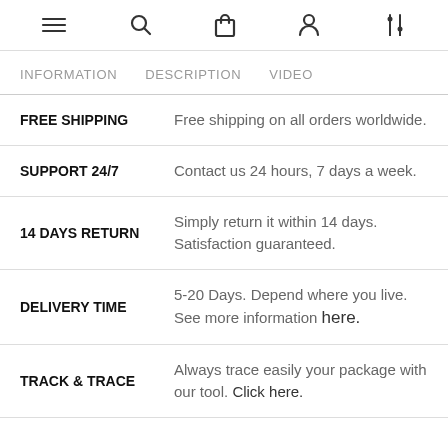≡  🔍  🔒  👤  ⚙
INFORMATION   DESCRIPTION   VIDEO
FREE SHIPPING — Free shipping on all orders worldwide.
SUPPORT 24/7 — Contact us 24 hours, 7 days a week.
14 DAYS RETURN — Simply return it within 14 days. Satisfaction guaranteed.
DELIVERY TIME — 5-20 Days. Depend where you live. See more information here.
TRACK & TRACE — Always trace easily your package with our tool. Click here.